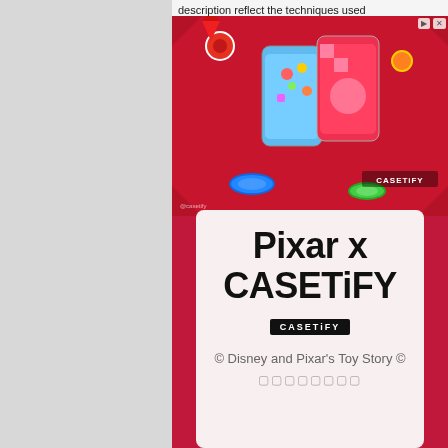description reflect the techniques used
[Figure (photo): CASETiFY phone cases displayed on a red foam play mat with colorful toys. Cases feature Pixar/Toy Story themed designs. CASETiFY logo visible bottom right.]
[Figure (infographic): White card advertisement for Pixar x CASETiFY collaboration showing brand name in large bold text, CASETiFY logo badge, and subtitle text about Disney and Pixar's Toy Story in Japanese/Asian characters]
Pixar x CASETiFY
© Disney and Pixar's Toy Story 🎮
🔲🔲🔲🔲🔲🔲🔲🔲